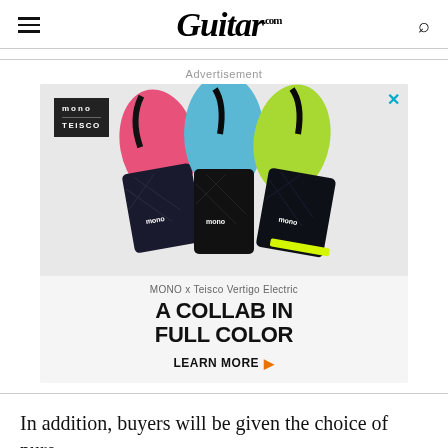Guitar.com
Advertisement
[Figure (photo): Advertisement for MONO x Teisco Vertigo Electric guitar bags in three colorways (pink, blue, green). Shows three guitar gig bags leaning together. MONO Teisco logo in top left. Headline: 'A COLLAB IN FULL COLOR'. Subtext: 'MONO x Teisco Vertigo Electric'. CTA: 'LEARN MORE ▶']
In addition, buyers will be given the choice of pure